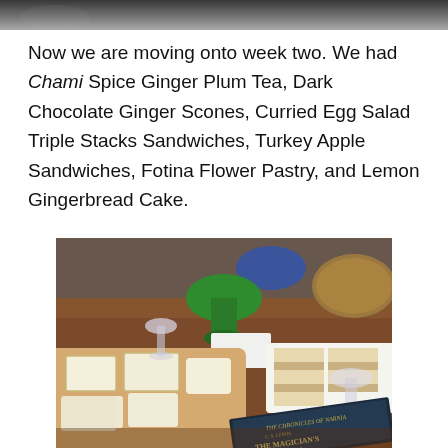[Figure (photo): Partial photo at the top of the page showing food items, cropped at top edge.]
Now we are moving onto week two. We had Chami Spice Ginger Plum Tea, Dark Chocolate Ginger Scones, Curried Egg Salad Triple Stacks Sandwiches, Turkey Apple Sandwiches, Fotina Flower Pastry, and Lemon Gingerbread Cake.
[Figure (photo): Photo of a table spread with tea party food including pastries on a wooden board, triple stack sandwiches on a white plate, a green pedestal bowl, crystal glasses, and a book titled 'The Magician's Nephew' from The Chronicles of Narnia by C.S. Lewis in the foreground.]